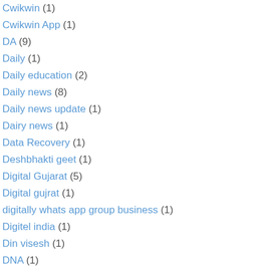Cwikwin (1)
Cwikwin App (1)
DA (9)
Daily (1)
Daily education (2)
Daily news (8)
Daily news update (1)
Dairy news (1)
Data Recovery (1)
Deshbhakti geet (1)
Digital Gujarat (5)
Digital gujrat (1)
digitally whats app group business (1)
Digitel india (1)
Din visesh (1)
DNA (1)
Download The Chart Of Village (1)
Dr Aambedakar (2)
DU teachers Asso. strike (1)